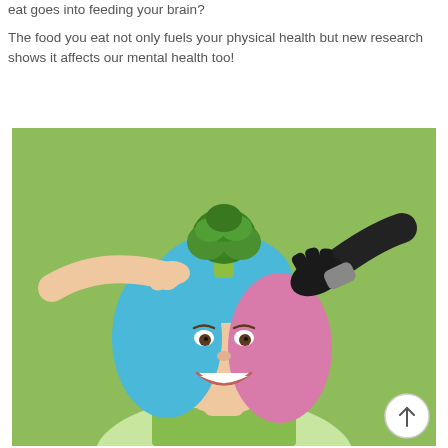eat goes into feeding your brain?
The food you eat not only fuels your physical health but new research shows it affects our mental health too!
[Figure (photo): A smiling young woman with blue and pink hair on a green background, with a natural hand and a black prosthetic hand placing a broccoli floret on top of her head.]